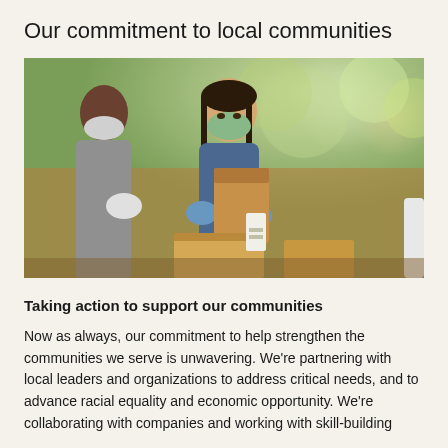Our commitment to local communities
[Figure (photo): Two people wearing face masks and gloves handling a brown paper grocery bag outdoors, with blurred green trees in the background. Cardboard boxes visible in the foreground.]
Taking action to support our communities
Now as always, our commitment to help strengthen the communities we serve is unwavering. We're partnering with local leaders and organizations to address critical needs, and to advance racial equality and economic opportunity. We're collaborating with companies and working with skill-building